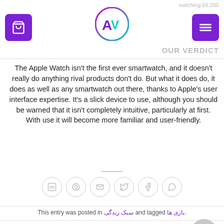watching £6,000 | OUR VERDICT
[Figure (logo): Purple/teal circular logo with stylized A and V letters]
The Apple Watch isn't the first ever smartwatch, and it doesn't really do anything rival products don't do. But what it does do, it does as well as any smartwatch out there, thanks to Apple's user interface expertise. It's a slick device to use, although you should be warned that it isn't completely intuitive, particularly at first. With use it will become more familiar and user-friendly.
[Figure (infographic): Six social media share icons in circles: LinkedIn, Pinterest, Email, Twitter, Facebook, WhatsApp]
This entry was posted in بازی ها and tagged سبک زندگی.
[Figure (photo): Partial gray avatar circle at bottom right]